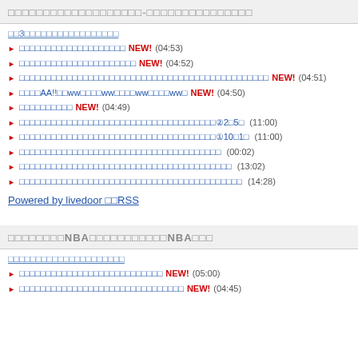□□□□□□□□□□□□□□□□□□□-□□□□□□□□□□□□□□□
□□3□□□□□□□□□□□□□□□□□
□□□□□□□□□□□□□□□□□□□□ NEW! (04:53)
□□□□□□□□□□□□□□□□□□□□□□ NEW! (04:52)
□□□□□□□□□□□□□□□□□□□□□□□□□□□□□□□□□□□□□□□□□□□□□□□ NEW! (04:51)
□□□□AA!!□□ww□□□□ww□□□□ww□□□□ww□ NEW! (04:50)
□□□□□□□□□□ NEW! (04:49)
□□□□□□□□□□□□□□□□□□□□□□□□□□□□□□□□□□□□□②2□5□ (11:00)
□□□□□□□□□□□□□□□□□□□□□□□□□□□□□□□□□□□□□①10□1□ (11:00)
□□□□□□□□□□□□□□□□□□□□□□□□□□□□□□□□□□□□□□ (00:02)
□□□□□□□□□□□□□□□□□□□□□□□□□□□□□□□□□□□□□□□□ (13:02)
□□□□□□□□□□□□□□□□□□□□□□□□□□□□□□□□□□□□□□□□□□ (14:28)
Powered by livedoor □□RSS
□□□□□□□□NBA□□□□□□□□□□□NBA□□□
□□□□□□□□□□□□□□□□□□□□□
□□□□□□□□□□□□□□□□□□□□□□□□□□□ NEW! (05:00)
□□□□□□□□□□□□□□□□□□□□□□□□□□□□□□□ NEW! (04:45)